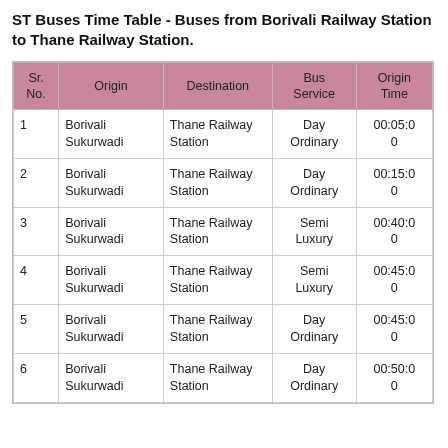ST Buses Time Table - Buses from Borivali Railway Station to Thane Railway Station.
| Sr. No. | Origin | Destination | Bus Service | Origin Time |
| --- | --- | --- | --- | --- |
| 1 | Borivali Sukurwadi | Thane Railway Station | Day Ordinary | 00:05:00 |
| 2 | Borivali Sukurwadi | Thane Railway Station | Day Ordinary | 00:15:00 |
| 3 | Borivali Sukurwadi | Thane Railway Station | Semi Luxury | 00:40:00 |
| 4 | Borivali Sukurwadi | Thane Railway Station | Semi Luxury | 00:45:00 |
| 5 | Borivali Sukurwadi | Thane Railway Station | Day Ordinary | 00:45:00 |
| 6 | Borivali Sukurwadi | Thane Railway Station | Day Ordinary | 00:50:00 |